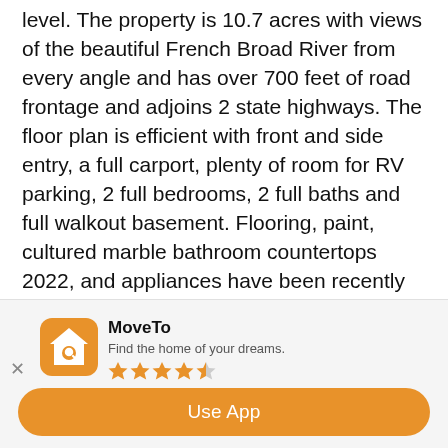level. The property is 10.7 acres with views of the beautiful French Broad River from every angle and has over 700 feet of road frontage and adjoins 2 state highways. The floor plan is efficient with front and side entry, a full carport, plenty of room for RV parking, 2 full bedrooms, 2 full baths and full walkout basement. Flooring, paint, cultured marble bathroom countertops 2022, and appliances have been recently updated in this move in ready rancher. The location is exactly where you want to be in Newport; just 20 miles from Morristown TN, 25 miles to Sevierville TN. 15 minutes to Douglas
[Figure (logo): MoveTo app banner with orange house/search icon logo, app name, tagline, star rating, and Use App button]